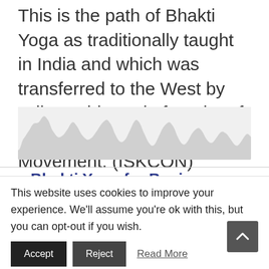This is the path of Bhakti Yoga as traditionally taught in India and which was transferred to the West by Srila Prabhupada founder of the Krishna Consciousness Movement. (ISKCON)
[Figure (other): Audio waveform visualization showing a grey mountain-like waveform pattern representing audio content]
Bhakti Yoga for Beginners – Spiritual Community
This website uses cookies to improve your experience. We'll assume you're ok with this, but you can opt-out if you wish.